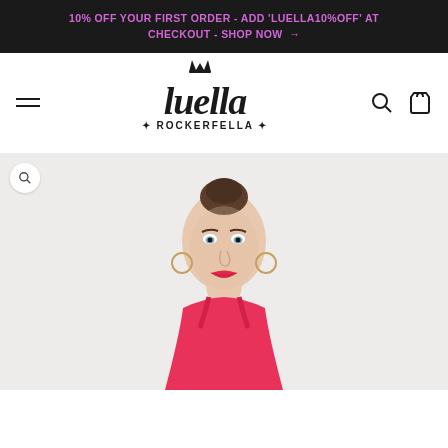10% OFF YOUR FIRST ORDER - ADD 'LUELLA10%OFF' AT CHECKOUT - SHOP NOW →
[Figure (logo): Luella Rockerfella brand logo in black script font with crown and asterisk decorations]
[Figure (photo): Female model with dark hair in updo, blue eyes, red lips, wearing pink spaghetti-strap top, looking directly at camera against light grey background]